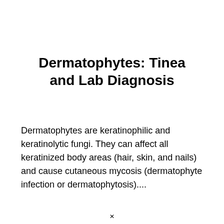Dermatophytes: Tinea and Lab Diagnosis
Dermatophytes are keratinophilic and keratinolytic fungi. They can affect all keratinized body areas (hair, skin, and nails) and cause cutaneous mycosis (dermatophyte infection or dermatophytosis)....